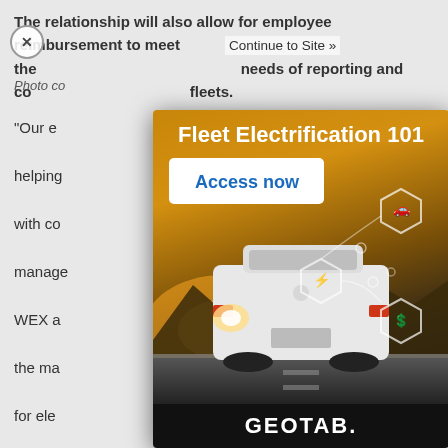The relationship will also allow for employee reimbursement to meet the needs of reporting and compliance fleets.
Photo co...
"Our e... step in helping... bility with co... manage... ay, WEX a... m in the ma... pay for ele... ations on the... ch Mohr, ... "The enhanc... n-route, ... hen they ne...
[Figure (advertisement): Geotab Fleet Electrification 101 advertisement showing a white electric SUV driving on a road with hexagonal EV-related icons overlaid on a golden sunset background. Contains title 'Fleet Electrification 101', 'Access now' button, and Geotab logo at bottom.]